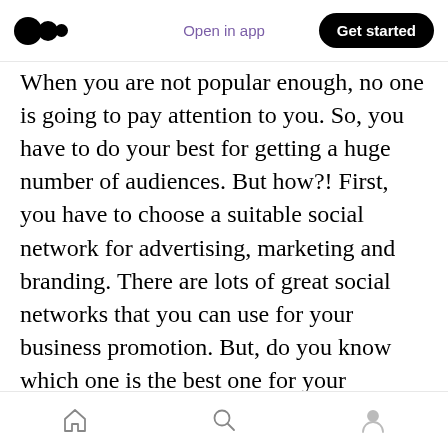Open in app | Get started
When you are not popular enough, no one is going to pay attention to you. So, you have to do your best for getting a huge number of audiences. But how?! First, you have to choose a suitable social network for advertising, marketing and branding. There are lots of great social networks that you can use for your business promotion. But, do you know which one is the best one for your business promotion. It totally depends on your subject. It means that, if you have a shoe store, it is better to use Instagram as a great app for getting a huge number of audiences. Because Instagram has
Home | Search | Profile